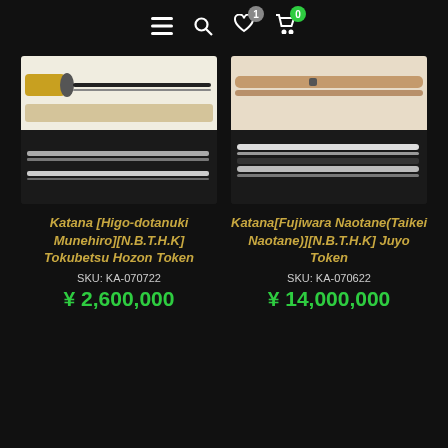Navigation bar with menu, search, wishlist (1), and cart (0) icons
[Figure (photo): Product photo of Katana [Higo-dotanuki Munehiro][N.B.T.H.K] Tokubetsu Hozon Token showing sword handle and blade on dark background]
Katana [Higo-dotanuki Munehiro][N.B.T.H.K] Tokubetsu Hozon Token
SKU: KA-070722
¥ 2,600,000
[Figure (photo): Product photo of Katana [Fujiwara Naotane(Taikei Naotane)][N.B.T.H.K] Juyo Token showing blade on dark background]
Katana[Fujiwara Naotane(Taikei Naotane)][N.B.T.H.K] Juyo Token
SKU: KA-070622
¥ 14,000,000